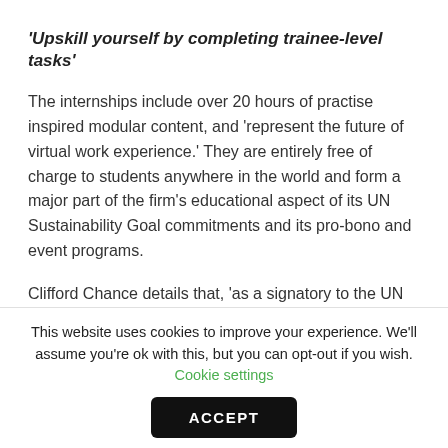'Upskill yourself by completing trainee-level tasks'
The internships include over 20 hours of practise inspired modular content, and 'represent the future of virtual work experience.' They are entirely free of charge to students anywhere in the world and form a major part of the firm's educational aspect of its UN Sustainability Goal commitments and its pro-bono and event programs.
Clifford Chance details that, 'as a signatory to the UN Sustainable Development Goals, we believe that education is vital for building a better world for all. As
This website uses cookies to improve your experience. We'll assume you're ok with this, but you can opt-out if you wish. Cookie settings
ACCEPT